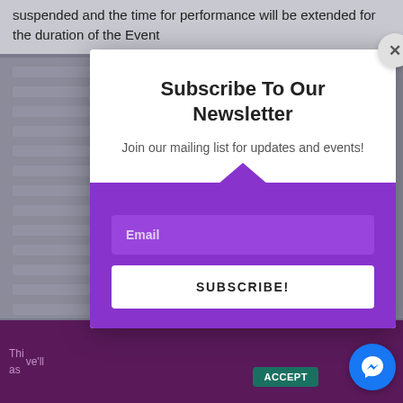suspended and the time for performance will be extended for the duration of the Event
Subscribe To Our Newsletter
Join our mailing list for updates and events!
Email
SUBSCRIBE!